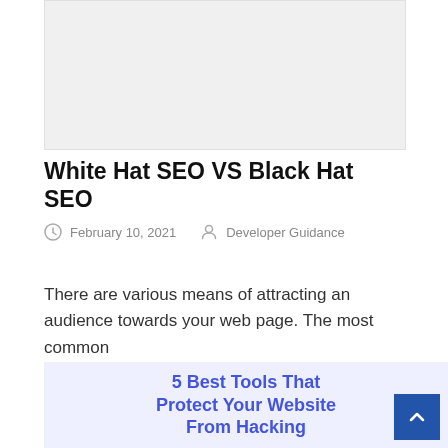[Figure (other): Gray advertisement placeholder banner at top of page]
White Hat SEO VS Black Hat SEO
February 10, 2021   Developer Guidance
There are various means of attracting an audience towards your web page. The most common
[Figure (illustration): Promotional image with text: 5 Best Tools That Protect Your Website From Hacking, with blue text on light background]